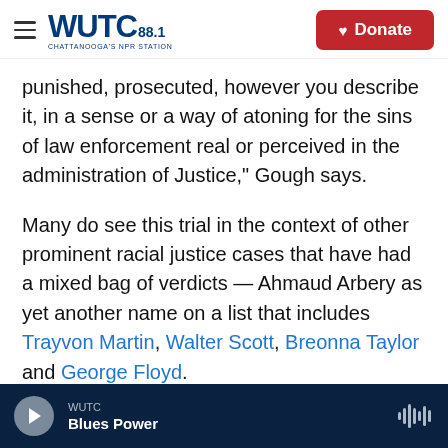WUTC 88.1 Chattanooga's NPR Station | Donate
punished, prosecuted, however you describe it, in a sense or a way of atoning for the sins of law enforcement real or perceived in the administration of Justice," Gough says.
Many do see this trial in the context of other prominent racial justice cases that have had a mixed bag of verdicts — Ahmaud Arbery as yet another name on a list that includes Trayvon Martin, Walter Scott, Breonna Taylor and George Floyd.
And historically the hundreds who came before,
WUTC | Blues Power